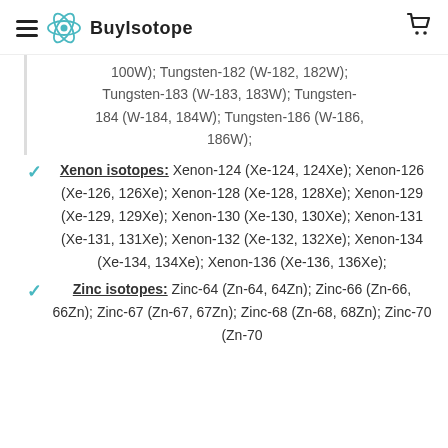BuyIsotope
100W); Tungsten-182 (W-182, 182W); Tungsten-183 (W-183, 183W); Tungsten-184 (W-184, 184W); Tungsten-186 (W-186, 186W);
Xenon isotopes: Xenon-124 (Xe-124, 124Xe); Xenon-126 (Xe-126, 126Xe); Xenon-128 (Xe-128, 128Xe); Xenon-129 (Xe-129, 129Xe); Xenon-130 (Xe-130, 130Xe); Xenon-131 (Xe-131, 131Xe); Xenon-132 (Xe-132, 132Xe); Xenon-134 (Xe-134, 134Xe); Xenon-136 (Xe-136, 136Xe);
Zinc isotopes: Zinc-64 (Zn-64, 64Zn); Zinc-66 (Zn-66, 66Zn); Zinc-67 (Zn-67, 67Zn); Zinc-68 (Zn-68, 68Zn); Zinc-70 (Zn-70